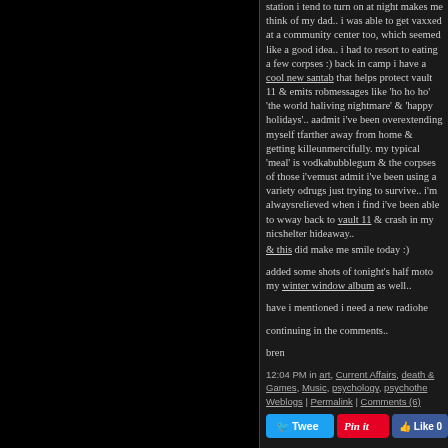station i tend to turn on at night makes me think of my dad.. i was able to get vaxxed at a community center too, which seemed like a good idea.. i had to resort to eating a few corpses :) back in camp i have a cool new santabot that helps protect vault 11 & emits robotic messages like 'ho ho ho' 'the world has become a living nightmare' & 'happy holidays'.. a must admit i've been overextending myself traveling farther away from home & getting killed unmercifully. my typical 'meal' is vodka, bubblegum & the corpses of those i've.. must admit i've been using a variety of drugs just trying to survive.. i'm always relieved when i find i've been able to work my way back to vault 11 & crash in my nice nuclear shelter hideaway..
& this did make me smile today :)

added some shots of tonight's half moon to my winter window album as well..

have i mentioned i need a new radiohead..

continuing in the comments..

bren
12:04 PM in art, Current Affairs, death & Games, Music, psychology, psychotherapy, Weblogs | Permalink | Comments (6)
[Figure (other): Social share buttons: Tweet (blue), Pin it (red/white script), Like 0 (Facebook blue)]